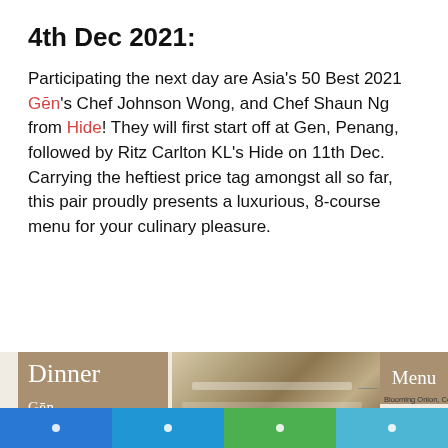4th Dec 2021:
Participating the next day are Asia’s 50 Best 2021 Gēn’s Chef Johnson Wong, and Chef Shaun Ng from Hide! They will first start off at Gen, Penang, followed by Ritz Carlton KL’s Hide on 11th Dec. Carrying the heftiest price tag amongst all so far, this pair proudly presents a luxurious, 8-course menu for your culinary pleasure.
[Figure (photo): Dinner menu card for Gēn Penang in tan/brown color, restaurant interior photo, Menu card in tan, and partial menu listing with items: Blooming Onion Coconut, Ice & Sea Plant Flower Crab, Garden of Vegetables Dabai, Squash Bentong Ginger Tiger Prawn, Dry aged Pumpkin Beras Adan Anchoviy, Turbot Cherry Tomato Sunchoke Scallion. Johnson Wong and Gēn branding. Chef photo bottom left.]
Navigation bar with four icons